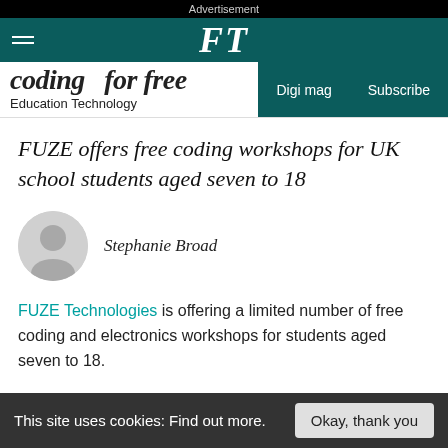Advertisement
FT
coding  for free  Education Technology  Digi mag  Subscribe
FUZE offers free coding workshops for UK school students aged seven to 18
Stephanie Broad
FUZE Technologies is offering a limited number of free coding and electronics workshops for students aged seven to 18.
This site uses cookies: Find out more.  Okay, thank you